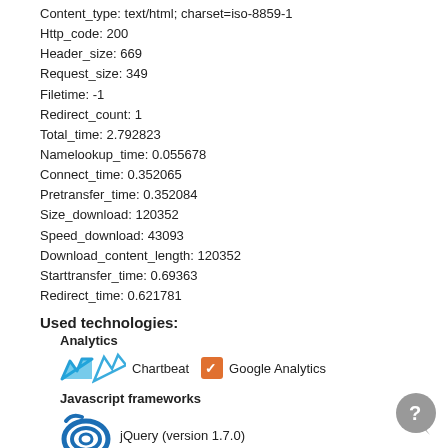Content_type: text/html; charset=iso-8859-1
Http_code: 200
Header_size: 669
Request_size: 349
Filetime: -1
Redirect_count: 1
Total_time: 2.792823
Namelookup_time: 0.055678
Connect_time: 0.352065
Pretransfer_time: 0.352084
Size_download: 120352
Speed_download: 43093
Download_content_length: 120352
Starttransfer_time: 0.69363
Redirect_time: 0.621781
Used technologies:
Analytics
Chartbeat   Google Analytics
Javascript frameworks
jQuery (version 1.7.0)
Programming languages
PHP
Web servers